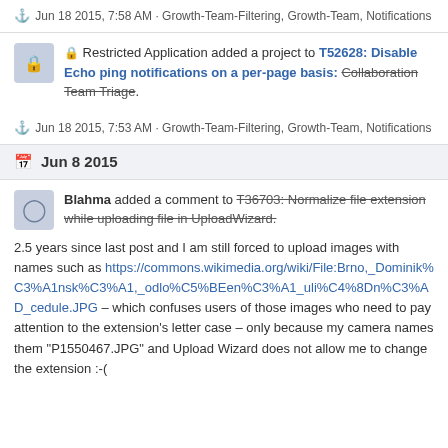⚓ Jun 18 2015, 7:58 AM · Growth-Team-Filtering, Growth-Team, Notifications
🔒 Restricted Application added a project to T52628: Disable Echo ping notifications on a per-page basis: Collaboration Team Triage.
⚓ Jun 18 2015, 7:53 AM · Growth-Team-Filtering, Growth-Team, Notifications
Jun 8 2015
Blahma added a comment to T36703: Normalize file extension while uploading file in UploadWizard.
2.5 years since last post and I am still forced to upload images with names such as https://commons.wikimedia.org/wiki/File:Brno,_Dominik%C3%A1nsk%C3%A1,_odlo%C5%BEen%C3%A1_uli%C4%8Dn%C3%AD_cedule.JPG – which confuses users of those images who need to pay attention to the extension's letter case – only because my camera names them "P1550467.JPG" and Upload Wizard does not allow me to change the extension :-(